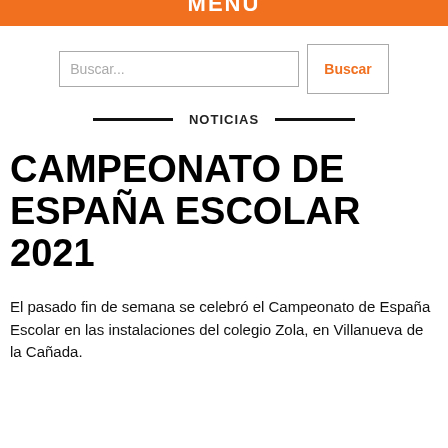MENÚ
NOTICIAS
CAMPEONATO DE ESPAÑA ESCOLAR 2021
El pasado fin de semana se celebró el Campeonato de España Escolar en las instalaciones del colegio Zola, en Villanueva de la Cañada.